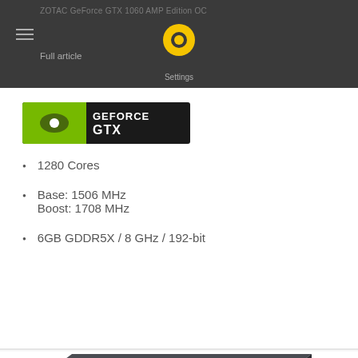ZOTAC GeForce GTX 1060 AMP Edition OC
[Figure (logo): NVIDIA GeForce GTX logo badge, green background with NVIDIA icon]
1280 Cores
Base: 1506 MHz
Boost: 1708 MHz
6GB GDDR5X / 8 GHz / 192-bit
[Figure (photo): ZOTAC Gaming graphics card product photo, dark box with ZOTAC GAMING OC branding, fans visible]